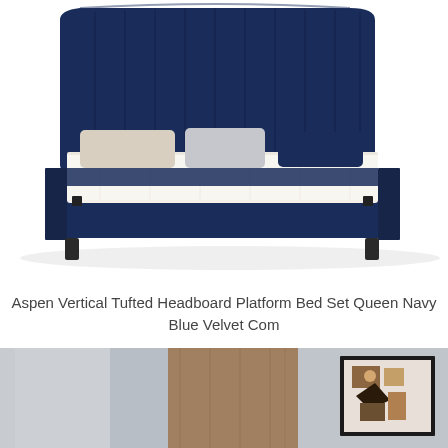[Figure (photo): A navy blue velvet platform bed with vertical tufted headboard, white bedding with navy accents and decorative pillows, on black tapered legs, photographed on white background.]
Aspen Vertical Tufted Headboard Platform Bed Set Queen Navy Blue Velvet Com
[Figure (photo): A partial view of a modern bedroom interior showing grey walls, a wood-paneled wall panel, and a framed abstract art piece with brown, black, and white tones.]